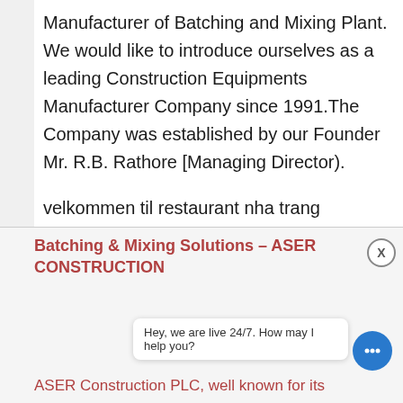Manufacturer of Batching and Mixing Plant. We would like to introduce ourselves as a leading Construction Equipments Manufacturer Company since 1991.The Company was established by our Founder Mr. R.B. Rathore [Managing Director).
velkommen til restaurant nha trang compressor air compressor for sale the sand manufacturing plant designs suppliers china the
Batching & Mixing Solutions – ASER CONSTRUCTION
Hey, we are live 24/7. How may I help you?
ASER Construction PLC, well known for its